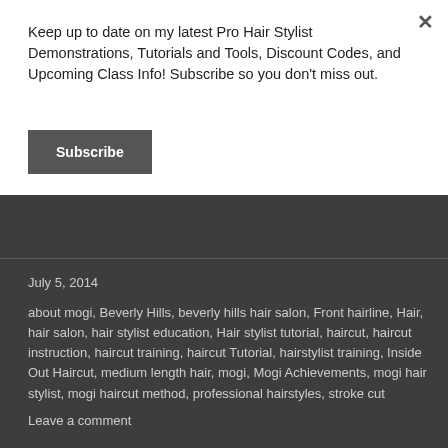Keep up to date on my latest Pro Hair Stylist Demonstrations, Tutorials and Tools, Discount Codes, and Upcoming Class Info! Subscribe so you don't miss out.
Subscribe
July 5, 2014
about mogi, Beverly Hills, beverly hills hair salon, Front hairline, Hair, hair salon, hair stylist education, Hair stylist tutorial, haircut, haircut instruction, haircut training, haircut Tutorial, hairstylist training, Inside Out Haircut, medium length hair, mogi, Mogi Achievements, mogi hair stylist, mogi haircut method, professional hairstyles, stroke cut
Leave a comment